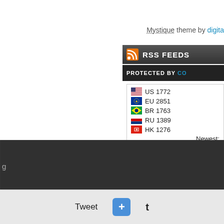Mystique theme by digita
[Figure (infographic): RSS FEEDS orange banner with RSS icon]
[Figure (infographic): PROTECTED BY CO dark bar]
| US | 1772 |
| EU | 2851 |
| BR | 1763 |
| RU | 1389 |
| HK | 1276 |
| Newest: |  |
| Today: |  |
| Month: |  |
| Total: |  |
| Super |  |
Pri
Find m
g
Tweet
[Figure (other): Blue plus button]
t